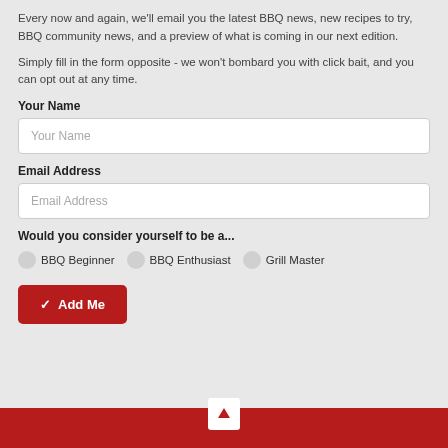Every now and again, we'll email you the latest BBQ news, new recipes to try, BBQ community news, and a preview of what is coming in our next edition.
Simply fill in the form opposite - we won't bombard you with click bait, and you can opt out at any time.
Your Name
Your Name (placeholder)
Email Address
Email Address (placeholder)
Would you consider yourself to be a...
BBQ Beginner   BBQ Enthusiast   Grill Master
✓ Add Me